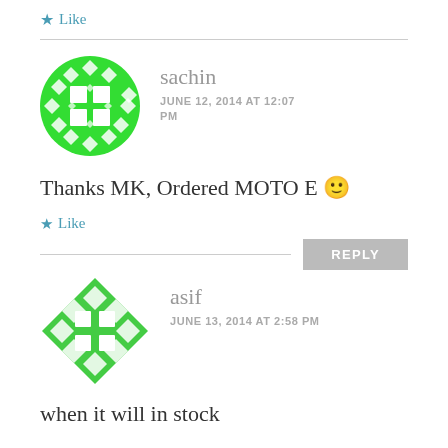★ Like
[Figure (illustration): Green circular avatar with diamond/square pattern for user 'sachin']
sachin
JUNE 12, 2014 AT 12:07 PM
Thanks MK, Ordered MOTO E 🙂
★ Like
REPLY
[Figure (illustration): Green diamond-shaped avatar with diamond pattern for user 'asif']
asif
JUNE 13, 2014 AT 2:58 PM
when it will in stock